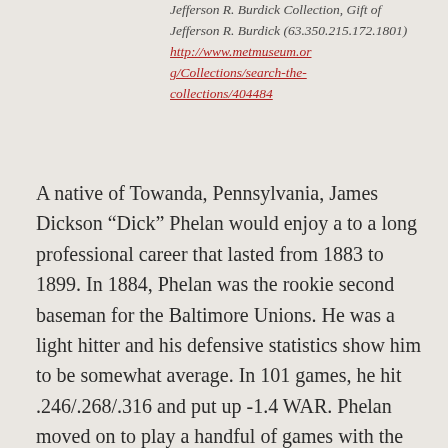Jefferson R. Burdick Collection, Gift of Jefferson R. Burdick (63.350.215.172.1801) http://www.metmuseum.org/Collections/search-the-collections/404484
A native of Towanda, Pennsylvania, James Dickson “Dick” Phelan would enjoy a to a long professional career that lasted from 1883 to 1899. In 1884, Phelan was the rookie second baseman for the Baltimore Unions. He was a light hitter and his defensive statistics show him to be somewhat average. In 101 games, he hit .246/.268/.316 and put up -1.4 WAR. Phelan moved on to play a handful of games with the Buffalo Bisons and the St. Louis Maroons in